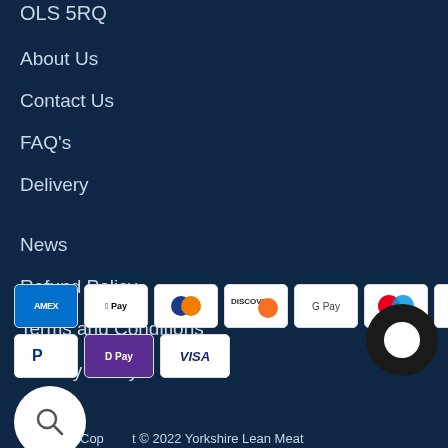OLS 5RQ
About Us
Contact Us
FAQ's
Delivery
News
Refund Policy
Terms and Conditions
Privacy Policy
[Figure (other): Payment method icons: Amex, Apple Pay, Diners, Discover, Google Pay, Mastercard, another card, PayPal, Google Pay (D Pay), Visa]
Copyright © 2022 Yorkshire Lean Meat